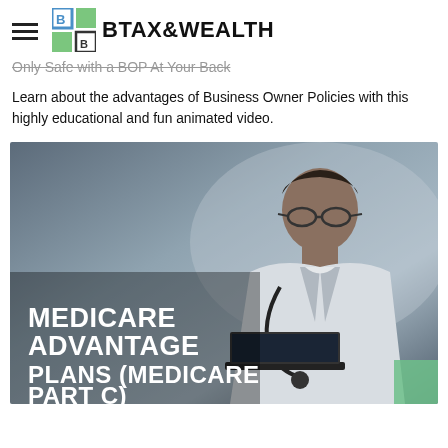DB TAX&WEALTH
Only Safe with a BOP At Your Back
Learn about the advantages of Business Owner Policies with this highly educational and fun animated video.
[Figure (screenshot): Video thumbnail showing a doctor in a white coat looking at a laptop, with bold white text overlay reading 'MEDICARE ADVANTAGE PLANS (MEDICARE PART C)']